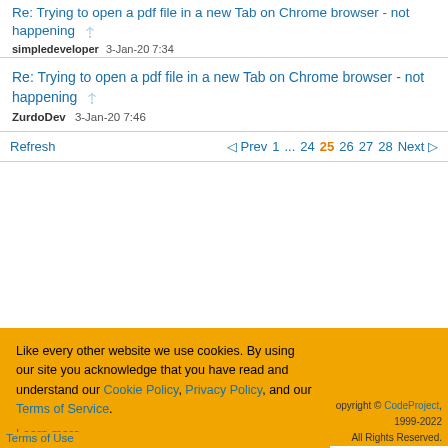Re: Trying to open a pdf file in a new Tab on Chrome browser - not happening
simpledeveloper   3-Jan-20 7:34
Re: Trying to open a pdf file in a new Tab on Chrome browser - not happening
ZurdoDev   3-Jan-20 7:46
Refresh  ◁ Prev  1  ...  24  25  26  27  28  Next ▷
Like every other website we use cookies. By using our site you acknowledge that you have read and understand our Cookie Policy, Privacy Policy, and our Terms of Service.
Learn more
Ask me later   Decline   Allow cookies
opyright © CodeProject, 1999-2022 All Rights Reserved.
Terms of Use